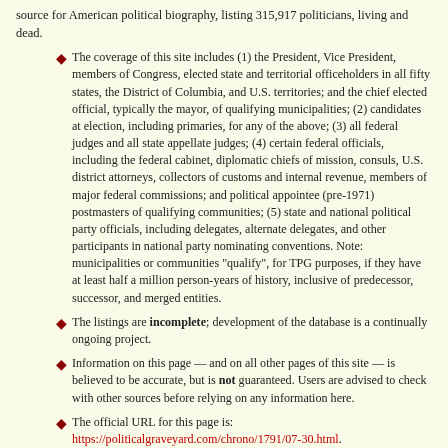source for American political biography, listing 315,917 politicians, living and dead.
The coverage of this site includes (1) the President, Vice President, members of Congress, elected state and territorial officeholders in all fifty states, the District of Columbia, and U.S. territories; and the chief elected official, typically the mayor, of qualifying municipalities; (2) candidates at election, including primaries, for any of the above; (3) all federal judges and all state appellate judges; (4) certain federal officials, including the federal cabinet, diplomatic chiefs of mission, consuls, U.S. district attorneys, collectors of customs and internal revenue, members of major federal commissions; and political appointee (pre-1971) postmasters of qualifying communities; (5) state and national political party officials, including delegates, alternate delegates, and other participants in national party nominating conventions. Note: municipalities or communities "qualify", for TPG purposes, if they have at least half a million person-years of history, inclusive of predecessor, successor, and merged entities.
The listings are incomplete; development of the database is a continually ongoing project.
Information on this page — and on all other pages of this site — is believed to be accurate, but is not guaranteed. Users are advised to check with other sources before relying on any information here.
The official URL for this page is: https://politicalgraveyard.com/chrono/1791/07-30.html.
Links to this or any other Political Graveyard page are welcome, but specific page addresses may sometimes change as the site develops.
If you are searching for a specific named individual, try the alphabetical index of politicians.
More information: FAQ; privacy policy; cemetery links.
If you find any error or omission in The Political Graveyard,